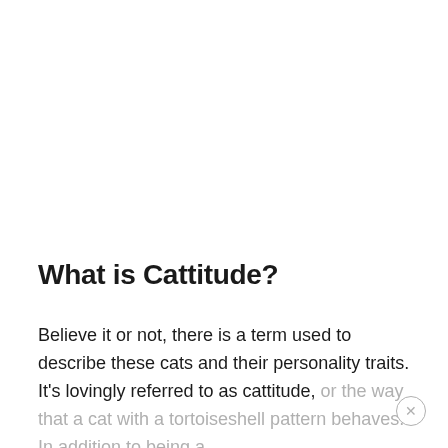What is Cattitude?
Believe it or not, there is a term used to describe these cats and their personality traits. It’s lovingly referred to as cattitude, or the way that a cat with a tortoiseshell pattern behaves. In addition to being a